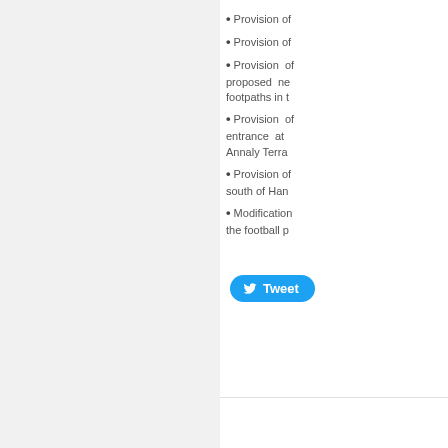Provision of
Provision of
Provision of proposed ne footpaths in t
Provision of entrance at Annaly Terra
Provision of south of Han
Modification the football p
[Figure (other): Twitter Tweet button]